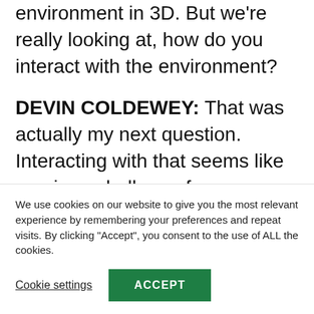environment in 3D. But we're really looking at, how do you interact with the environment?
DEVIN COLDEWEY: That was actually my next question. Interacting with that seems like a unique challenge for someone who–normally, you would have to tap on the button on the screen or something like that. but it mav not be possible for
We use cookies on our website to give you the most relevant experience by remembering your preferences and repeat visits. By clicking "Accept", you consent to the use of ALL the cookies.
Cookie settings
ACCEPT